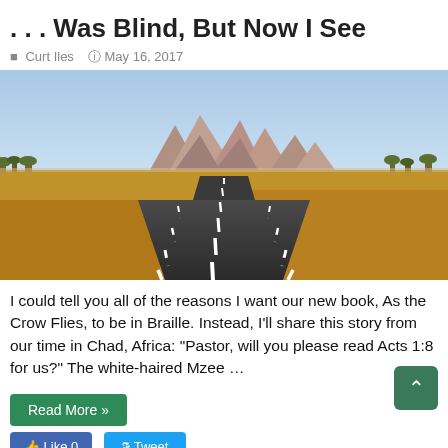. . . Was Blind, But Now I See
Curt Iles   May 16, 2017
[Figure (photo): A winding asphalt road in an arid African landscape with rocky mountains in the background under a clear blue sky, with dry golden grass on either side.]
I could tell you all of the reasons I want our new book, As the Crow Flies, to be in Braille. Instead, I'll share this story from our time in Chad, Africa: “Pastor, will you please read Acts 1:8 for us?” The white-haired Mzee …